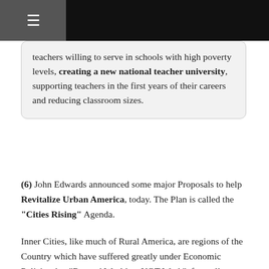☰
teachers willing to serve in schools with high poverty levels, creating a new national teacher university, supporting teachers in the first years of their careers and reducing classroom sizes.
(6) John Edwards announced some major Proposals to help Revitalize Urban America, today. The Plan is called the "Cities Rising" Agenda.
Inner Cities, like much of Rural America, are regions of the Country which have suffered greatly under Economic Policies that "Reward Wealth -- NOT Work", for well over a decade now, starting with NAFTA. Edwards plans to make our Economic System fair for average workers again.